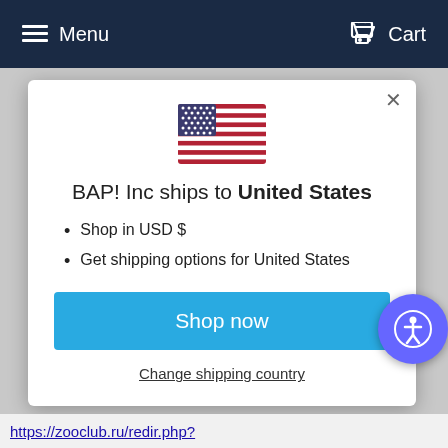Menu   Cart
[Figure (illustration): US flag emoji/icon centered in modal]
BAP! Inc ships to United States
Shop in USD $
Get shipping options for United States
Shop now
Change shipping country
https://zooclub.ru/redir.php?